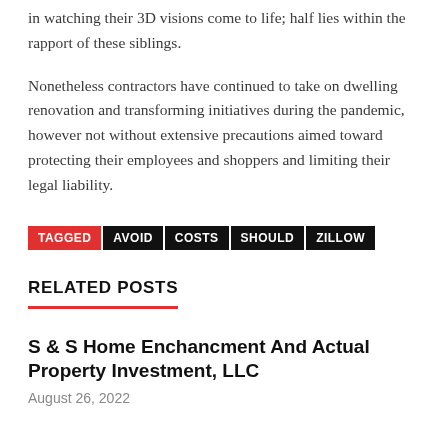in watching their 3D visions come to life; half lies within the rapport of these siblings.
Nonetheless contractors have continued to take on dwelling renovation and transforming initiatives during the pandemic, however not without extensive precautions aimed toward protecting their employees and shoppers and limiting their legal liability.
TAGGED AVOID COSTS SHOULD ZILLOW
RELATED POSTS
S & S Home Enchancment And Actual Property Investment, LLC
August 26, 2022